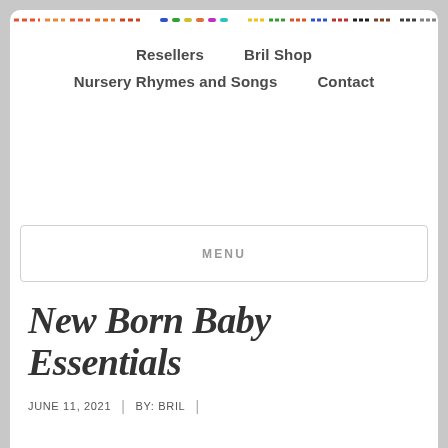Rainbow decorative bar
Resellers   Bril Shop
Nursery Rhymes and Songs   Contact
MENU
New Born Baby Essentials
JUNE 11, 2021  |  BY: BRIL  |